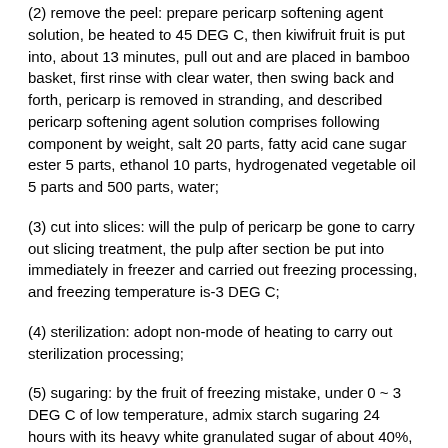(2) remove the peel: prepare pericarp softening agent solution, be heated to 45 DEG C, then kiwifruit fruit is put into, about 13 minutes, pull out and are placed in bamboo basket, first rinse with clear water, then swing back and forth, pericarp is removed in stranding, and described pericarp softening agent solution comprises following component by weight, salt 20 parts, fatty acid cane sugar ester 5 parts, ethanol 10 parts, hydrogenated vegetable oil 5 parts and 500 parts, water;
(3) cut into slices: will the pulp of pericarp be gone to carry out slicing treatment, the pulp after section be put into immediately in freezer and carried out freezing processing, and freezing temperature is-3 DEG C;
(4) sterilization: adopt non-mode of heating to carry out sterilization processing;
(5) sugaring: by the fruit of freezing mistake, under 0 ~ 3 DEG C of low temperature, admix starch sugaring 24 hours with its heavy white granulated sugar of about 40%, wherein the ratio of white granulated sugar and starch is 3:2;